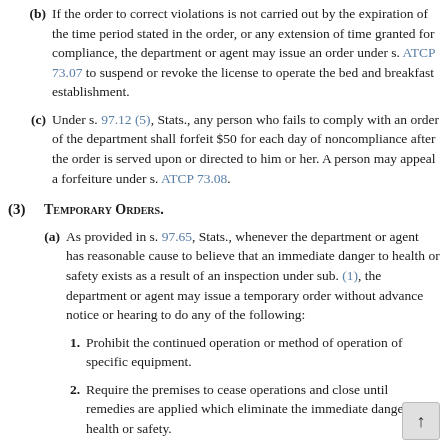(b) If the order to correct violations is not carried out by the expiration of the time period stated in the order, or any extension of time granted for compliance, the department or agent may issue an order under s. ATCP 73.07 to suspend or revoke the license to operate the bed and breakfast establishment.
(c) Under s. 97.12 (5), Stats., any person who fails to comply with an order of the department shall forfeit $50 for each day of noncompliance after the order is served upon or directed to him or her. A person may appeal a forfeiture under s. ATCP 73.08.
(3) Temporary Orders.
(a) As provided in s. 97.65, Stats., whenever the department or agent has reasonable cause to believe that an immediate danger to health or safety exists as a result of an inspection under sub. (1), the department or agent may issue a temporary order without advance notice or hearing to do any of the following:
1. Prohibit the continued operation or method of operation of specific equipment.
2. Require the premises to cease operations and close until remedies are applied which eliminate the immediate danger to health or safety.
(b)
1. A temporary order shall take effect upon delivery to the